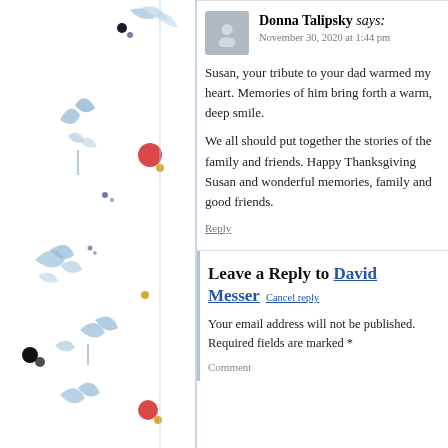[Figure (illustration): Decorative watercolor floral/botanical illustration on the left margin with blue leaves, red berries, and black dots on a white background]
Donna Talipsky says:
November 30, 2020 at 1:44 pm
Susan, your tribute to your dad warmed my heart. Memories of him bring forth a warm, deep smile.
We all should put together the stories of the family and friends. Happy Thanksgiving Susan and wonderful memories, family and good friends.
Reply
Leave a Reply to David Messer Cancel reply
Your email address will not be published. Required fields are marked *
Comment